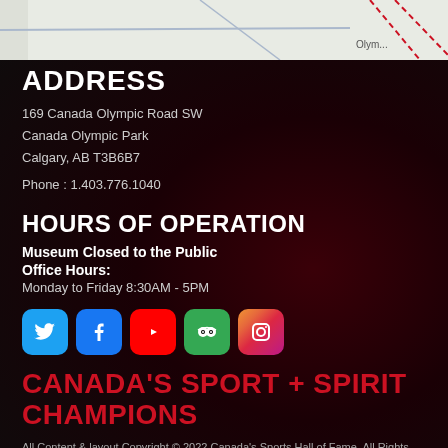[Figure (map): Partial map view showing street layout with blue and red lines, showing partial text 'Olym...']
ADDRESS
169 Canada Olympic Road SW
Canada Olympic Park
Calgary, AB T3B6B7
Phone : 1.403.776.1040
HOURS OF OPERATION
Museum Closed to the Public
Office Hours:
Monday to Friday 8:30AM - 5PM
[Figure (infographic): Row of social media icons: Twitter, Facebook, YouTube, TripAdvisor, Instagram]
CANADA'S SPORT + SPIRIT CHAMPIONS
All Content & layout Copyright © 2022 Canada's Sports Hall of Fame. All Rights Reserved
Website Theme Design and CMS Support Provided by Tobias Crichton Studios.